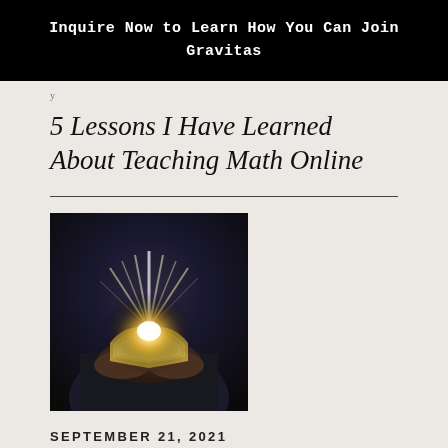Inquire Now to Learn How You Can Join Gravitas
5 Lessons I Have Learned About Teaching Math Online
[Figure (photo): A person holding an open book with bright glowing light emanating from the pages, dramatic dark background]
SEPTEMBER 21, 2021